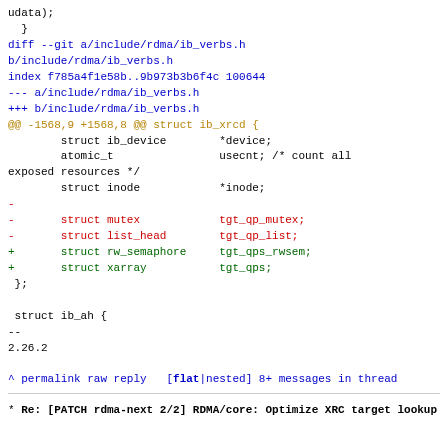udata);
  }
diff --git a/include/rdma/ib_verbs.h b/include/rdma/ib_verbs.h
index f785a4f1e58b..9b973b3b6f4c 100644
--- a/include/rdma/ib_verbs.h
+++ b/include/rdma/ib_verbs.h
@@ -1568,9 +1568,8 @@ struct ib_xrcd {
        struct ib_device        *device;
        atomic_t                usecnt; /* count all exposed resources */
        struct inode            *inode;
-
-       struct mutex            tgt_qp_mutex;
-       struct list_head        tgt_qp_list;
+       struct rw_semaphore     tgt_qps_rwsem;
+       struct xarray           tgt_qps;
 };

 struct ib_ah {
--
2.26.2
^ permalink raw reply  [flat|nested] 8+ messages in thread
* Re: [PATCH rdma-next 2/2] RDMA/core: Optimize XRC target lookup